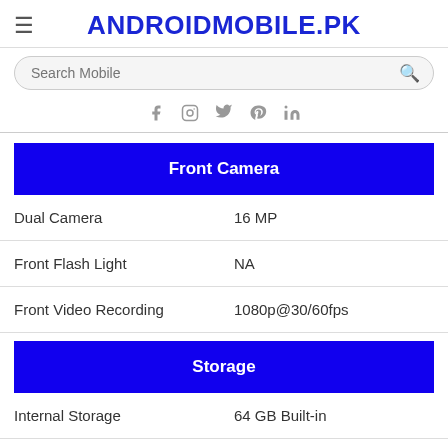ANDROIDMOBILE.PK
[Figure (screenshot): Search bar with placeholder 'Search Mobile' and search icon]
[Figure (infographic): Social media icons: Facebook, Instagram, Twitter, Pinterest, LinkedIn]
Front Camera
| Feature | Value |
| --- | --- |
| Dual Camera | 16 MP |
| Front Flash Light | NA |
| Front Video Recording | 1080p@30/60fps |
Storage
| Feature | Value |
| --- | --- |
| Internal Storage | 64 GB Built-in |
| RAM | 4 GB |